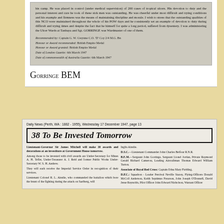[Figure (photo): Scanned document image showing text about NCO's devotion to duty during POW days, followed by recommendation details including Recommended by Captain G.W. Gwynne, Honour/Award: British Empire Medal, Date of London Gazette: 6th March 1947, Date of Commonwealth of Australia Gazette: 6th March 1947]
Gorringe BEM
Daily News (Perth, WA : 1882 - 1955), Wednesday 17 December 1947, page 13
38 To Be Invested Tomorrow
Lieutenant-Governor Sir James Mitchell will make 38 awards and decorations at an investiture at Government House tomorrow. Among those to be invested with civil awards are Under-Secretary for Mines A. H. Telfer, Under-Treasurer A. J. Reid and former Public Works Under-Secretary W. S. H. Andrew. They will each receive the Imperial Service Order in recognition of their services. Lieutenant Colonel R. L. Ainslie, who commanded the battalion which bore the brunt of the fighting during the attack on Saelberg, will
Inglis Ainslie. D.S.C.—Lieutenant Commander John Charles Belfour R.N.R. B.E.M.—Sergeant John Gorringe, Sergeant Lionel Jordan, Private Raymond Gerald Richard Cameron, Leading Aircraftman Thomas Edward William Turton. Associate of Royal Red Cross: Captain Edna Mary Fielding. D.F.C.: Squadron-Leader Percival Neville Stacey, Flying-Officers Donald McColl Anderson, Keith Septimus Frearson, John Joseph O'Donnell, David Jesse Reynolds, Pilot Officer John Edward Nicholson, Warrant Officer